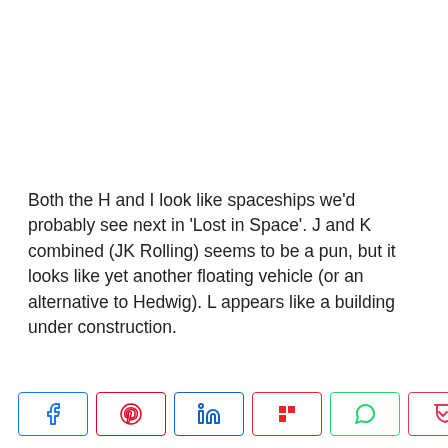Both the H and I look like spaceships we'd probably see next in 'Lost in Space'. J and K combined (JK Rolling) seems to be a pun, but it looks like yet another floating vehicle (or an alternative to Hedwig). L appears like a building under construction.
[Figure (other): Social media share buttons bar: Facebook, Pinterest, LinkedIn, Flipboard, WhatsApp, Pocket icons, and a share count showing 39 SHARES]